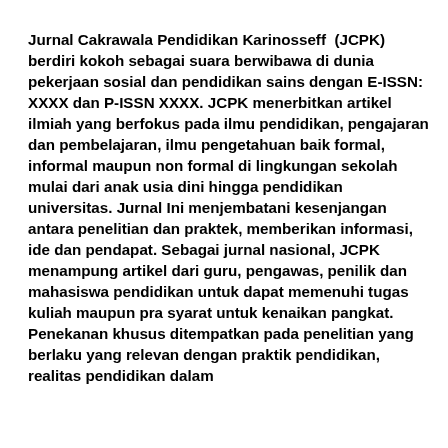Jurnal Cakrawala Pendidikan Karinosseff  (JCPK) berdiri kokoh sebagai suara berwibawa di dunia pekerjaan sosial dan pendidikan sains dengan E-ISSN: XXXX dan P-ISSN XXXX. JCPK menerbitkan artikel ilmiah yang berfokus pada ilmu pendidikan, pengajaran dan pembelajaran, ilmu pengetahuan baik formal, informal maupun non formal di lingkungan sekolah mulai dari anak usia dini hingga pendidikan universitas. Jurnal Ini menjembatani kesenjangan antara penelitian dan praktek, memberikan informasi, ide dan pendapat. Sebagai jurnal nasional, JCPK menampung artikel dari guru, pengawas, penilik dan mahasiswa pendidikan untuk dapat memenuhi tugas kuliah maupun pra syarat untuk kenaikan pangkat. Penekanan khusus ditempatkan pada penelitian yang berlaku yang relevan dengan praktik pendidikan, realitas pendidikan dalam